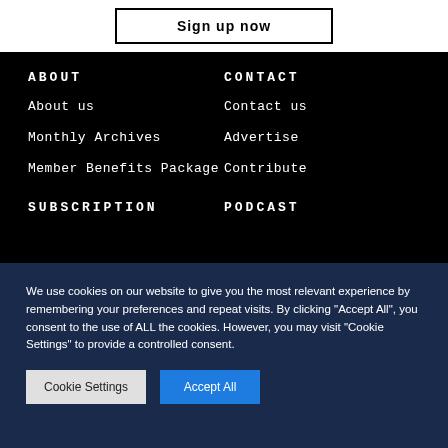Sign up now
ABOUT
About us
Monthly Archives
Member Benefits Package
CONTACT
Contact us
Advertise
Contribute
SUBSCRIPTION
PODCAST
We use cookies on our website to give you the most relevant experience by remembering your preferences and repeat visits. By clicking “Accept All”, you consent to the use of ALL the cookies. However, you may visit "Cookie Settings" to provide a controlled consent.
Cookie Settings
Accept All